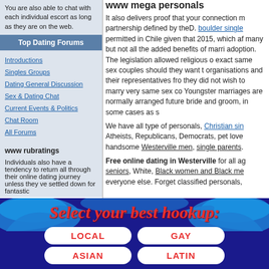You are also able to chat with each individual escort as long as they are on the web.
Top Dating Forums
Introductions
Singles Groups
Dating General Discussion
Sex & Dating Chat
Current Events & Politics
Chat Room
All Forums
www rubratings
Individuals also have a tendency to return all through their online dating journey unless they ve settled down for fantastic
www mega personals
It also delivers proof that your connection m... partnership defined by theD. boulder single... permitted in Chile given that 2015, which af... many but not all the added benefits of marri... adoption. The legislation allowed religious o... exact same sex couples should they want t... organisations and their representatives fro... they did not wish to marry very same sex co... Youngster marriages are normally arranged... future bride and groom, in some cases as s...
We have all type of personals, Christian sin... Atheists, Republicans, Democrats, pet love... handsome Westerville men, single parents.
Free online dating in Westerville for all ag... seniors, White, Black women and Black me... everyone else. Forget classified personals,
[Figure (infographic): Banner with dark blue background, decorative wave shapes in blue, red cursive italic text reading 'Select your best hookup:', and four white rounded rectangle buttons labeled LOCAL, GAY, ASIAN, LATIN in red bold text.]